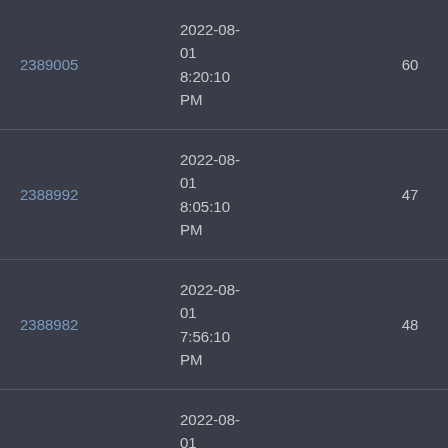| 2389005 | 2022-08-01
8:20:10 PM | 60 | 6186 |
| 2388992 | 2022-08-01
8:05:10 PM | 47 | 2167 |
| 2388982 | 2022-08-01
7:56:10 PM | 48 | 11041 |
| 2388944 | 2022-08-01
7:25:10 PM | 44 | 22224 |